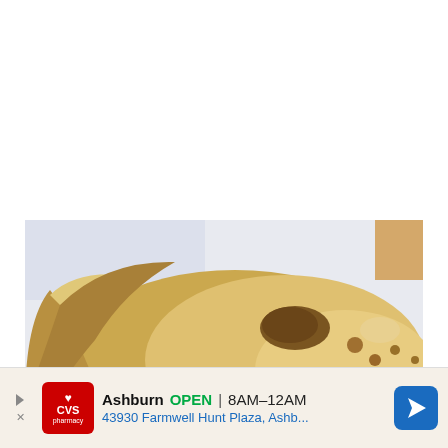[Figure (photo): Close-up photo of flatbreads (chapati/roti/tortillas) stacked on a white surface with a light background. The breads are golden-brown with darker char spots.]
Ashburn  OPEN | 8AM–12AM
43930 Farmwell Hunt Plaza, Ashb...